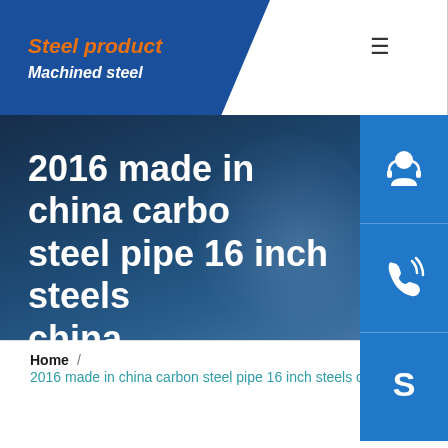Steel product / Machined steel
2016 made in china carbon steel pipe 16 inch steels china
[Figure (illustration): Three blue icon buttons on the right side: customer service headset icon, phone/call icon, and Skype icon]
Home / 2016 made in china carbon steel pipe 16 inch steels china